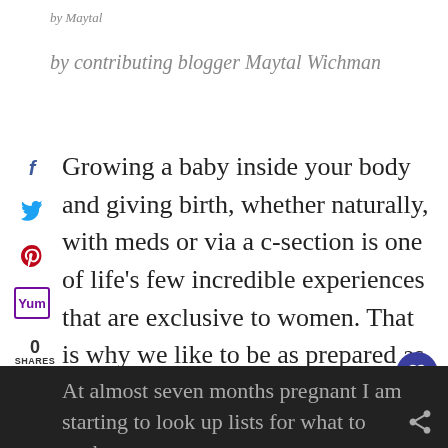by Maytal
by contributing blogger Maytal Wichman
Growing a baby inside your body and giving birth, whether naturally, with meds or via a c-section is one of life’s few incredible experiences that are exclusive to women. That is why we like to be as prepared as possible for the birth and the hospital stay – so that we can ensure the best possible outcome.
At almost seven months pregnant I am starting to look up lists for what to pack